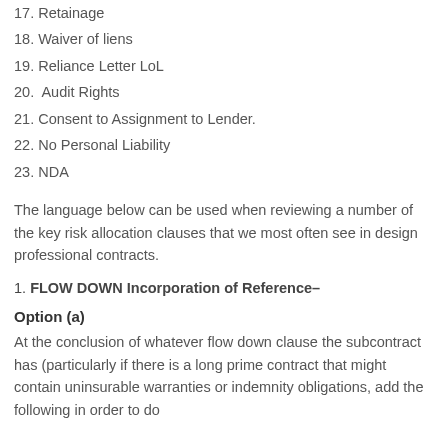17. Retainage
18. Waiver of liens
19. Reliance Letter LoL
20.  Audit Rights
21. Consent to Assignment to Lender.
22. No Personal Liability
23. NDA
The language below can be used when reviewing a number of the key risk allocation clauses that we most often see in design professional contracts.
1. FLOW DOWN Incorporation of Reference–
Option (a)
At the conclusion of whatever flow down clause the subcontract has (particularly if there is a long prime contract that might contain uninsurable warranties or indemnity obligations, add the following in order to do